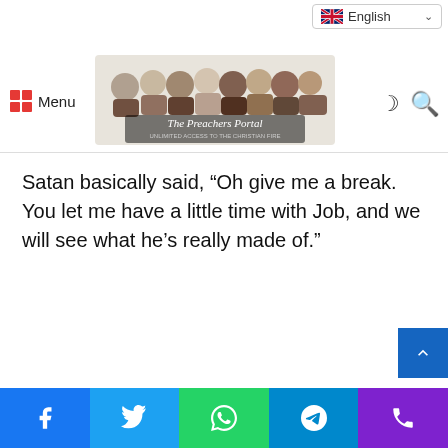Menu | The Preachers Portal | English
Satan basically said, “Oh give me a break. You let me have a little time with Job, and we will see what he’s really made of.”
Facebook | Twitter | WhatsApp | Telegram | Phone